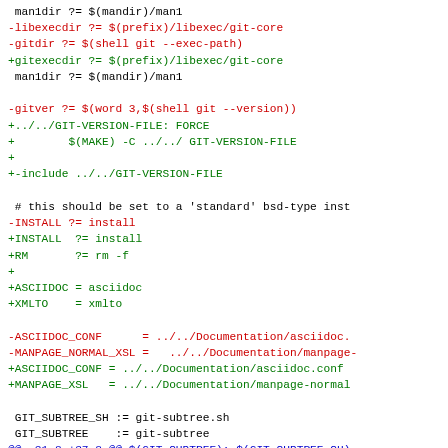diff --git code block showing Makefile changes including libexecdir, gitdir, gitexecdir, man1dir, gitver, GIT-VERSION-FILE, include directives, INSTALL, RM, ASCIIDOC, XMLTO, ASCIIDOC_CONF, MANPAGE_NORMAL_XSL, MANPAGE_XSL variables and GIT_SUBTREE definitions